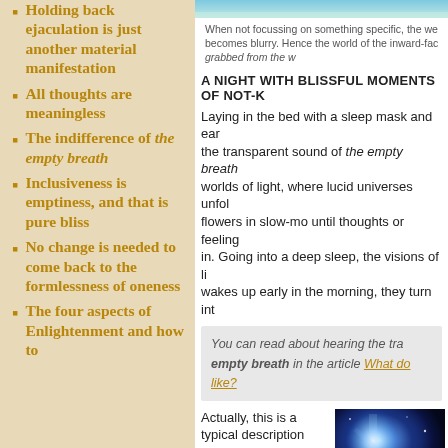Holding back ejaculation is just another material manifestation
All thoughts are meaningless
The indifference of the empty breath
Inclusiveness is emptiness, and that is pure bliss
No change is needed to come back to the formlessness of oneness
The four aspects of Enlightenment and how to
[Figure (photo): Top image: blurry light/sky photo]
When not focussing on something specific, the wo becomes blurry. Hence the world of the inward-fac grabbed from the w
A NIGHT WITH BLISSFUL MOMENTS OF NOT-K
Laying in the bed with a sleep mask and ear the transparent sound of the empty breath worlds of light, where lucid universes unfol flowers in slow-mo until thoughts or feeling in. Going into a deep sleep, the visions of li wakes up early in the morning, they turn int
You can read about hearing the tra empty breath in the article What do like?
Actually, this is a typical description from many years ago, where the glimpses of Enlightenment were
[Figure (photo): Bottom right image: blue glowing nebula or energy form in space]